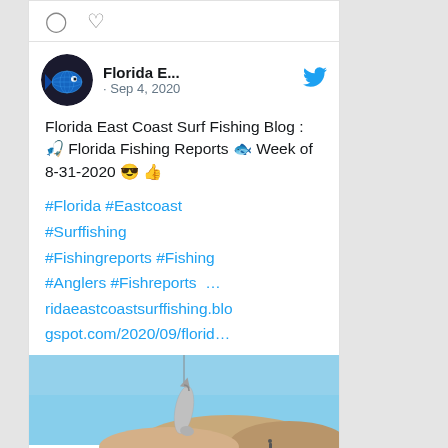[Figure (screenshot): Twitter/social media card showing Florida East Coast Surf Fishing Blog tweet from Sep 4, 2020 with fish photo on a beach]
Florida East Coast Surf Fishing Blog : 🎣 Florida Fishing Reports 🐟 Week of 8-31-2020 😎 👍
#Florida #Eastcoast #Surffishing #Fishingreports #Fishing #Anglers #Fishreports … ridaeastcoastsurffishing.blogspot.com/2020/09/florid…
[Figure (photo): A fish being held up on a hook/line on a sunny beach with blue sky and sand dunes in the background]